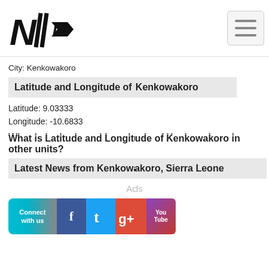NTI logo and navigation
City: Kenkowakoro
Latitude and Longitude of Kenkowakoro
Latitude: 9.03333
Longitude: -10.6833
What is Latitude and Longitude of Kenkowakoro in other units?
Latest News from Kenkowakoro, Sierra Leone
Ads
[Figure (infographic): Connect with us social media banner showing Facebook, Twitter, Google+, and YouTube icons]